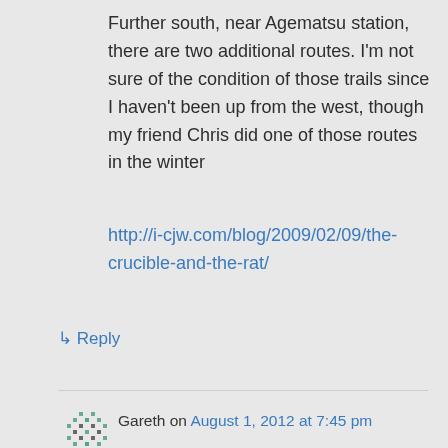Further south, near Agematsu station, there are two additional routes. I'm not sure of the condition of those trails since I haven't been up from the west, though my friend Chris did one of those routes in the winter
http://i-cjw.com/blog/2009/02/09/the-crucible-and-the-rat/
↳ Reply
Gareth on August 1, 2012 at 7:45 pm
Thank you for the information. Planning to go up in the next couple of weeks.